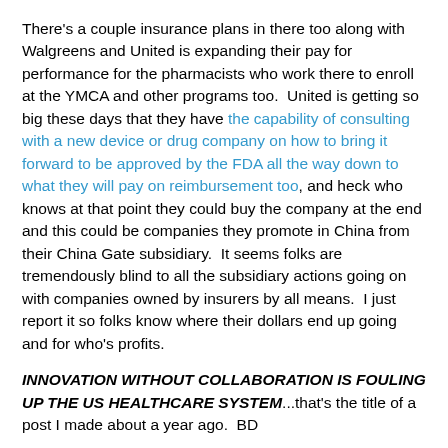There's a couple insurance plans in there too along with Walgreens and United is expanding their pay for performance for the pharmacists who work there to enroll at the YMCA and other programs too.  United is getting so big these days that they have the capability of consulting with a new device or drug company on how to bring it forward to be approved by the FDA all the way down to what they will pay on reimbursement too, and heck who knows at that point they could buy the company at the end and this could be companies they promote in China from their China Gate subsidiary.  It seems folks are tremendously blind to all the subsidiary actions going on with companies owned by insurers by all means.  I just report it so folks know where their dollars end up going and for who's profits.
INNOVATION WITHOUT COLLABORATION IS FOULING UP THE US HEALTHCARE SYSTEM...that's the title of a post I made about a year ago.  BD
The Office of the National Coordinator for Health Information Technology is seeking applications for its latest mobile-application competition, which